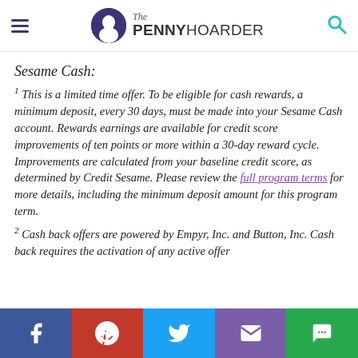The Penny Hoarder
Sesame Cash:
1 This is a limited time offer. To be eligible for cash rewards, a minimum deposit, every 30 days, must be made into your Sesame Cash account. Rewards earnings are available for credit score improvements of ten points or more within a 30-day reward cycle. Improvements are calculated from your baseline credit score, as determined by Credit Sesame. Please review the full program terms for more details, including the minimum deposit amount for this program term.
2 Cash back offers are powered by Empyr, Inc. and Button, Inc. Cash back requires the activation of any active offer